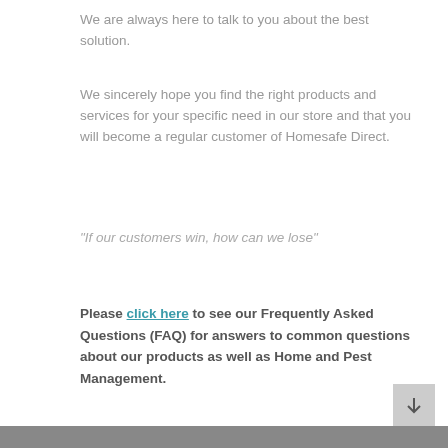We are always here to talk to you about the best solution.
We sincerely hope you find the right products and services for your specific need in our store and that you will become a regular customer of Homesafe Direct.
“If our customers win, how can we lose”
Please click here to see our Frequently Asked Questions (FAQ) for answers to common questions about our products as well as Home and Pest Management.